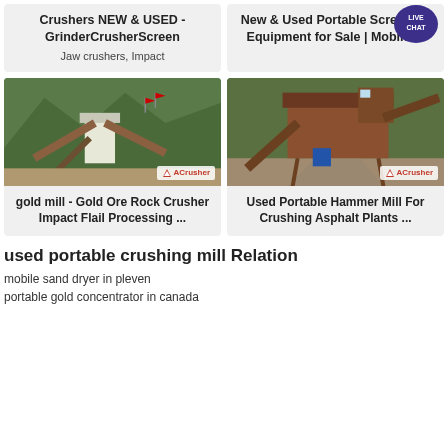Crushers NEW & USED - GrinderCrusherScreen
Jaw crushers, Impact
New & Used Portable Screening Equipment for Sale | Mobile ...
[Figure (photo): Industrial rock crusher/mill facility with conveyor belts and structures against green mountain background, ACrusher watermark]
gold mill - Gold Ore Rock Crusher Impact Flail Processing ...
[Figure (photo): Used portable hammer mill crusher equipment on dirt road with green trees background, ACrusher watermark]
Used Portable Hammer Mill For Crushing Asphalt Plants ...
used portable crushing mill Relation
mobile sand dryer in pleven
portable gold concentrator in canada